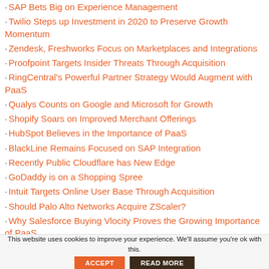SAP Bets Big on Experience Management
Twilio Steps up Investment in 2020 to Preserve Growth Momentum
Zendesk, Freshworks Focus on Marketplaces and Integrations
Proofpoint Targets Insider Threats Through Acquisition
RingCentral's Powerful Partner Strategy Would Augment with PaaS
Qualys Counts on Google and Microsoft for Growth
Shopify Soars on Improved Merchant Offerings
HubSpot Believes in the Importance of PaaS
BlackLine Remains Focused on SAP Integration
Recently Public Cloudflare has New Edge
GoDaddy is on a Shopping Spree
Intuit Targets Online User Base Through Acquisition
Should Palo Alto Networks Acquire ZScaler?
Why Salesforce Buying Vlocity Proves the Growing Importance of PaaS
Datadog Performing Well Post Recent IPO
This website uses cookies to improve your experience. We'll assume you're ok with this.
ACCEPT
READ MORE